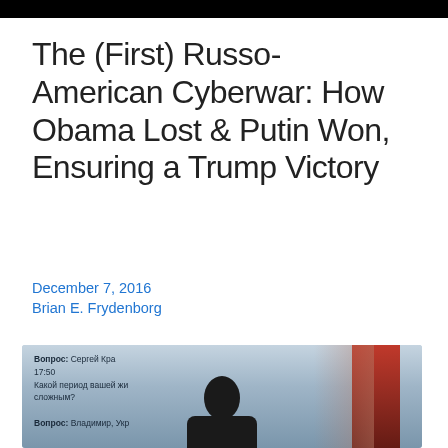The (First) Russo-American Cyberwar: How Obama Lost & Putin Won, Ensuring a Trump Victory
December 7, 2016
Brian E. Frydenborg
[Figure (photo): Composite image: circular profile photo of a bearded man speaking at a podium overlaid on a background image of what appears to be a Russian press conference scene with Cyrillic text visible, and a man (Putin) in the foreground below.]